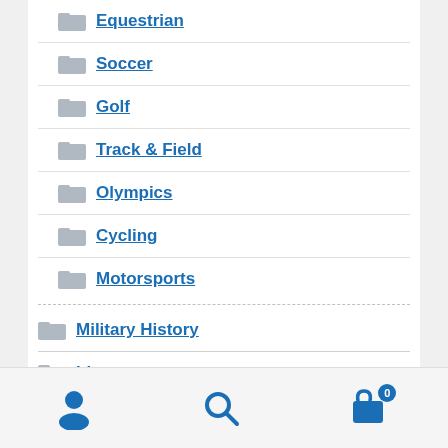Equestrian
Soccer
Golf
Track & Field
Olympics
Cycling
Motorsports
Military History
Literature
History
[Figure (infographic): Bottom navigation bar with user account icon, search icon, and shopping cart icon with badge showing 0]